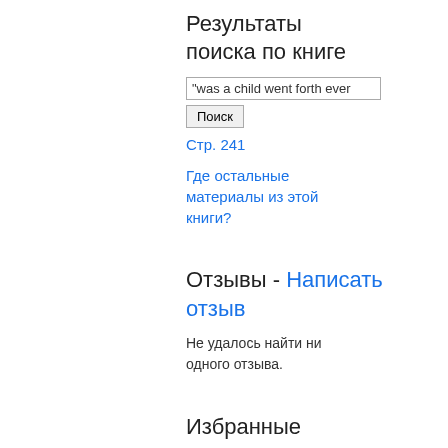Результаты поиска по книге
"was a child went forth ever
Поиск
Стр. 241
Где остальные материалы из этой книги?
Отзывы - Написать отзыв
Не удалось найти ни одного отзыва.
Избранные страницы